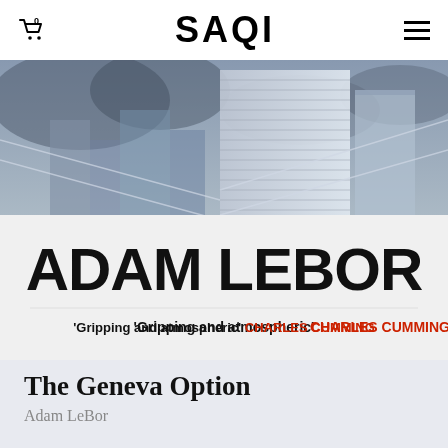SAQI
[Figure (illustration): Book cover for 'The Geneva Option' by Adam LeBor. Dark, atmospheric image of a city skyline with a tall building in blue-grey tones. Large bold text 'ADAM LEBOR' across the lower portion. Below that, text reads: 'Gripping and atmospheric' CHARLES CUMMING (CHARLES CUMMING in red).]
The Geneva Option
Adam LeBor